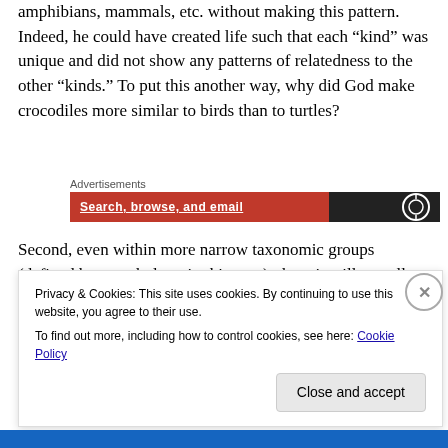amphibians, mammals, etc. without making this pattern. Indeed, he could have created life such that each “kind” was unique and did not show any patterns of relatedness to the other “kinds.” To put this another way, why did God make crocodiles more similar to birds than to turtles?
[Figure (screenshot): Advertisements banner with orange and black background showing 'Search, browse, and email' text]
Second, even within more narrow taxonomic groups (defined by morphology in this case), there is still actually no need for the level of genetic similarities that we
Privacy & Cookies: This site uses cookies. By continuing to use this website, you agree to their use.
To find out more, including how to control cookies, see here: Cookie Policy
Close and accept